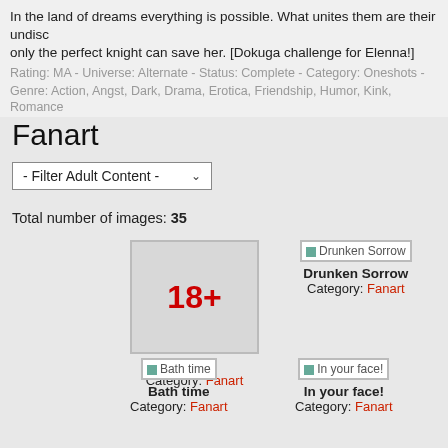In the land of dreams everything is possible. What unites them are their undiscovered only the perfect knight can save her. [Dokuga challenge for Elenna!]
Rating: MA  -  Universe: Alternate  -  Status: Complete  -  Category: Oneshots  -
Genre: Action, Angst, Dark, Drama, Erotica, Friendship, Humor, Kink, Romance
Fanart
- Filter Adult Content -
Total number of images: 35
[Figure (other): 18+ age restriction placeholder image for 'In Bed' fanart]
In Bed
Category: Fanart
[Figure (other): Thumbnail image for 'Drunken Sorrow' fanart]
Drunken Sorrow
Category: Fanart
[Figure (other): Thumbnail image for 'Bath time' fanart]
Bath time
Category: Fanart
[Figure (other): Thumbnail image for 'In your face!' fanart]
In your face!
Category: Fanart